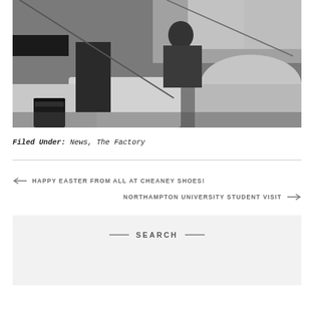[Figure (photo): Black and white photograph of a factory worker at a workbench with rolls of fabric/leather material and industrial machinery]
Filed Under: News, The Factory
← HAPPY EASTER FROM ALL AT CHEANEY SHOES!
NORTHAMPTON UNIVERSITY STUDENT VISIT →
SEARCH